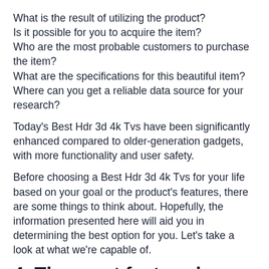What is the result of utilizing the product?
Is it possible for you to acquire the item?
Who are the most probable customers to purchase the item?
What are the specifications for this beautiful item?
Where can you get a reliable data source for your research?
Today's Best Hdr 3d 4k Tvs have been significantly enhanced compared to older-generation gadgets, with more functionality and user safety.
Before choosing a Best Hdr 3d 4k Tvs for your life based on your goal or the product's features, there are some things to think about. Hopefully, the information presented here will aid you in determining the best option for you. Let's take a look at what we're capable of.
4. The most feature-bene th